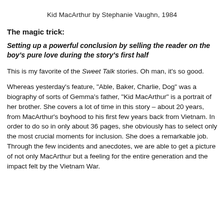Kid MacArthur by Stephanie Vaughn, 1984
The magic trick:
Setting up a powerful conclusion by selling the reader on the boy's pure love during the story's first half
This is my favorite of the Sweet Talk stories. Oh man, it's so good.
Whereas yesterday's feature, “Able, Baker, Charlie, Dog” was a biography of sorts of Gemma’s father, “Kid MacArthur” is a portrait of her brother. She covers a lot of time in this story – about 20 years, from MacArthur’s boyhood to his first few years back from Vietnam. In order to do so in only about 36 pages, she obviously has to select only the most crucial moments for inclusion. She does a remarkable job. Through the few incidents and anecdotes, we are able to get a picture of not only MacArthur but a feeling for the entire generation and the impact felt by the Vietnam War.